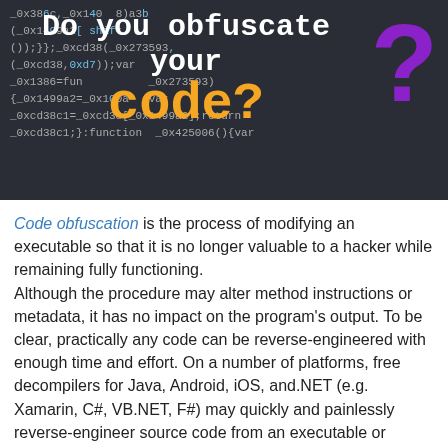[Figure (illustration): Dark background image showing obfuscated JavaScript code with overlaid text reading 'Do you obfuscate your code?' in white and orange, with a large purple question mark.]
Code obfuscation is the process of modifying an executable so that it is no longer valuable to a hacker while remaining fully functioning. Although the procedure may alter method instructions or metadata, it has no impact on the program's output. To be clear, practically any code can be reverse-engineered with enough time and effort. On a number of platforms, free decompilers for Java, Android, iOS, and.NET (e.g. Xamarin, C#, VB.NET, F#) may quickly and painlessly reverse-engineer source code from an executable or library. Reverse engineering software is difficult and expensive due to automatic code